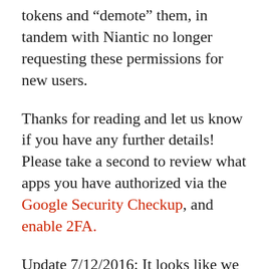tokens and “demote” them, in tandem with Niantic no longer requesting these permissions for new users.
Thanks for reading and let us know if you have any further details! Please take a second to review what apps you have authorized via the Google Security Checkup, and enable 2FA.
Update 7/12/2016: It looks like we were on the right track with the “UberAuth” tokens. This OAuth scope initially gains access to very little but can be exchanged for new tokens that allow access to all data in your Google account, including Gmail, through a series of undocumented methods. More